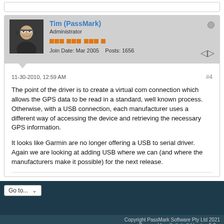Tim (PassMark) Administrator Join Date: Mar 2005 Posts: 1656
11-30-2010, 12:59 AM #4
The point of the driver is to create a virtual com connection which allows the GPS data to be read in a standard, well known process. Otherwise, with a USB connection, each manufacturer uses a different way of accessing the device and retrieving the necessary GPS information.

It looks like Garmin are no longer offering a USB to serial driver. Again we are looking at adding USB where we can (and where the manufacturers make it possible) for the next release.
Copyright PassMark Software Pty Ltd 2021 Powered by vBulletin® Version 5.6...